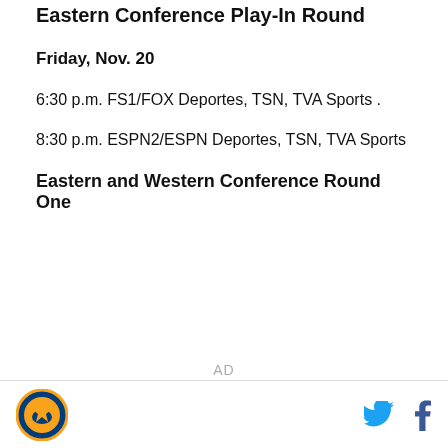Eastern Conference Play-In Round
Friday, Nov. 20
6:30 p.m. FS1/FOX Deportes, TSN, TVA Sports .
8:30 p.m. ESPN2/ESPN Deportes, TSN, TVA Sports
Eastern and Western Conference Round One
AD
Logo | Twitter | Facebook